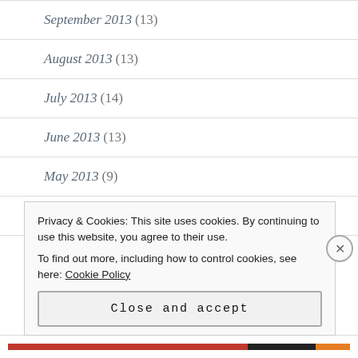September 2013 (13)
August 2013 (13)
July 2013 (14)
June 2013 (13)
May 2013 (9)
April 2013 (16)
March 2013 (22)
Privacy & Cookies: This site uses cookies. By continuing to use this website, you agree to their use.
To find out more, including how to control cookies, see here: Cookie Policy
Close and accept